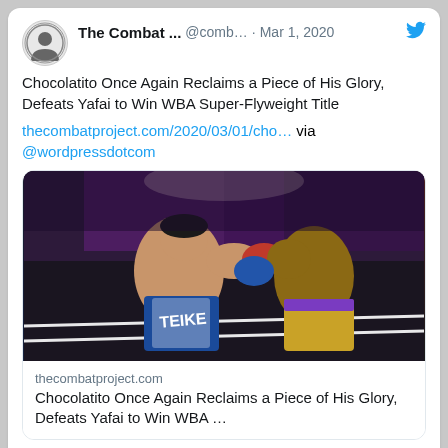The Combat ... @comb… · Mar 1, 2020
Chocolatito Once Again Reclaims a Piece of His Glory, Defeats Yafai to Win WBA Super-Flyweight Title
thecombatproject.com/2020/03/01/cho… via @wordpressdotcom
[Figure (photo): Two boxers exchanging punches in a boxing ring. Left boxer wears blue and white shorts with 'TEIKE' visible, right boxer wears gold/purple shorts. Both wearing boxing gloves.]
thecombatproject.com
Chocolatito Once Again Reclaims a Piece of His Glory, Defeats Yafai to Win WBA …
The Combat  @com… · Feb 29, 2020